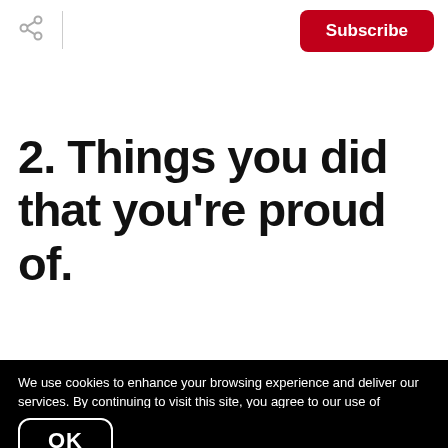Subscribe
2. Things you did that you're proud of.
We use cookies to enhance your browsing experience and deliver our services. By continuing to visit this site, you agree to our use of cookies. More info
OK